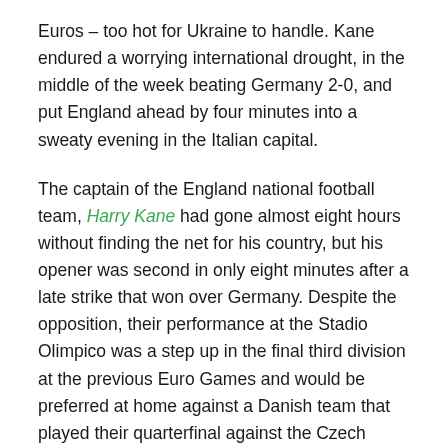Euros – too hot for Ukraine to handle. Kane endured a worrying international drought, in the middle of the week beating Germany 2-0, and put England ahead by four minutes into a sweaty evening in the Italian capital.
The captain of the England national football team, Harry Kane had gone almost eight hours without finding the net for his country, but his opener was second in only eight minutes after a late strike that won over Germany. Despite the opposition, their performance at the Stadio Olimpico was a step up in the final third division at the previous Euro Games and would be preferred at home against a Danish team that played their quarterfinal against the Czech Republic in away Baku on Saturday.
Also, watch yesterday match result of the Euro 2020 quarter-finals match in which England win over Ukraine to reach the semi-finals of the Championship.